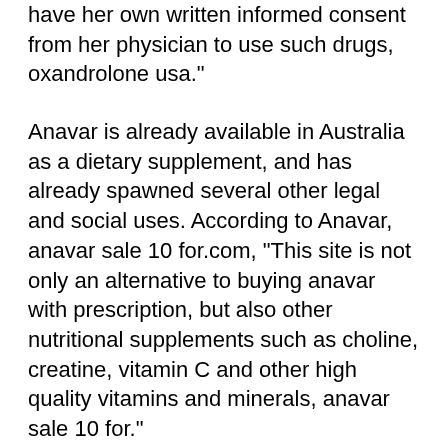have her own written informed consent from her physician to use such drugs, oxandrolone usa."
Anavar is already available in Australia as a dietary supplement, and has already spawned several other legal and social uses. According to Anavar, anavar sale 10 for.com, "This site is not only an alternative to buying anavar with prescription, but also other nutritional supplements such as choline, creatine, vitamin C and other high quality vitamins and minerals, anavar sale 10 for."
A study published in the British medical journal British Medical Journal found that men who took anabolic steroids before the age of 50 gained an average of seven pounds and lost seven pounds of muscle mass the first time they used the drug. The effect was greatest around age 49, as older men gained about twice as much muscle